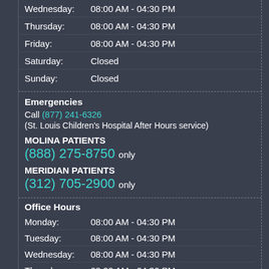Wednesday: 08:00 AM - 04:30 PM
Thursday: 08:00 AM - 04:30 PM
Friday: 08:00 AM - 04:30 PM
Saturday: Closed
Sunday: Closed
Emergencies
Call (877) 241-6326
(St. Louis Children's Hospital After Hours service)
MOLINA PATIENTS
(888) 275-8750 only
MERIDIAN PATIENTS
(312) 705-2900 only
Office Hours
Monday: 08:00 AM - 04:30 PM
Tuesday: 08:00 AM - 04:30 PM
Wednesday: 08:00 AM - 04:30 PM
Thursday: 08:00 AM - 04:30 PM
Friday: 08:00 AM - 04:30 PM
Saturday: Closed